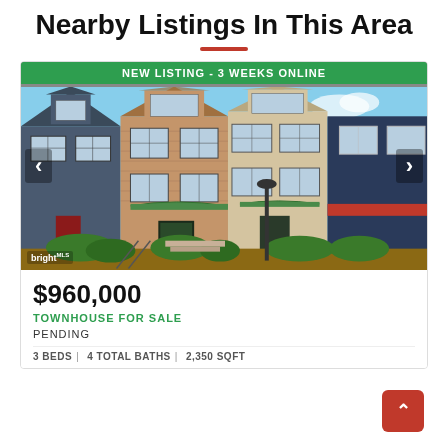Nearby Listings In This Area
[Figure (photo): Photo of a row of townhouses with brick and siding facades, green landscaping in front, blue sky background. Green badge at top reads 'NEW LISTING - 3 WEEKS ONLINE'. Navigation arrows on left and right sides. Bright MLS watermark at bottom left.]
$960,000
TOWNHOUSE FOR SALE
PENDING
3 BEDS | 4 TOTAL BATHS | 2,350 SQFT